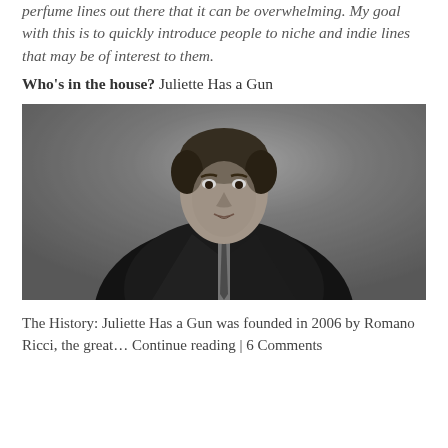perfume lines out there that it can be overwhelming. My goal with this is to quickly introduce people to niche and indie lines that may be of interest to them.
Who's in the house? Juliette Has a Gun
[Figure (photo): Black and white portrait photo of a man in a dark suit and tie, posed with hands behind his back, looking directly at the camera with a slight lean forward.]
The History: Juliette Has a Gun was founded in 2006 by Romano Ricci, the great... Continue reading | 6 Comments